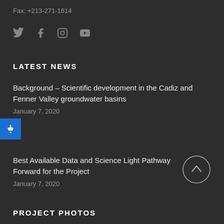Fax: +213-271-1614
[Figure (other): Social media icons: Twitter, Facebook, Instagram, YouTube]
LATEST NEWS
Background – Scientific development in the Cadiz and Fenner Valley groundwater basins
January 7, 2020
Best Available Data and Science Light Pathway Forward for the Project
January 7, 2020
[Figure (other): Scroll to top button - circle with upward arrow]
PROJECT PHOTOS